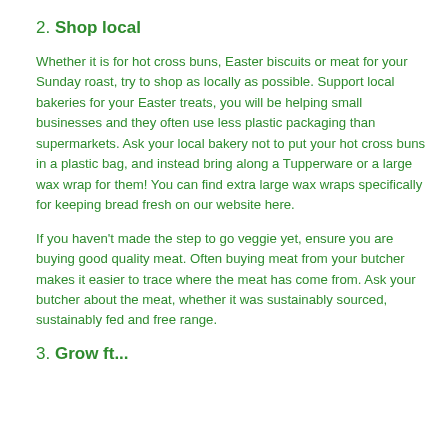2. Shop local
Whether it is for hot cross buns, Easter biscuits or meat for your Sunday roast, try to shop as locally as possible. Support local bakeries for your Easter treats, you will be helping small businesses and they often use less plastic packaging than supermarkets. Ask your local bakery not to put your hot cross buns in a plastic bag, and instead bring along a Tupperware or a large wax wrap for them! You can find extra large wax wraps specifically for keeping bread fresh on our website here.
If you haven't made the step to go veggie yet, ensure you are buying good quality meat. Often buying meat from your butcher makes it easier to trace where the meat has come from. Ask your butcher about the meat, whether it was sustainably sourced, sustainably fed and free range.
3. Grow ft...